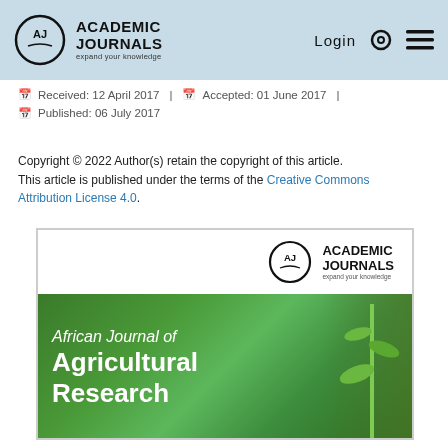Academic Journals — Login
Received: 12 April 2017 | Accepted: 01 June 2017 | Published: 06 July 2017
Copyright © 2022 Author(s) retain the copyright of this article.
This article is published under the terms of the Creative Commons Attribution License 4.0.
[Figure (photo): Cover image of the African Journal of Agricultural Research, showing the journal name on a green background with a plant image, and the Academic Journals logo.]